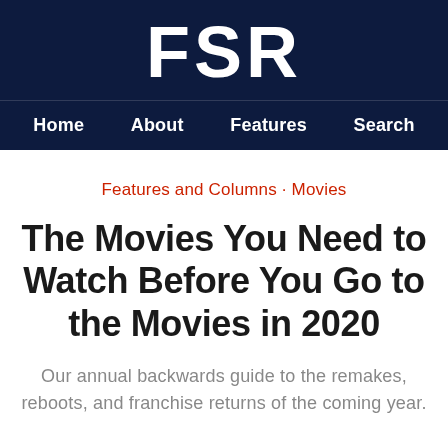FSR
Home  About  Features  Search
Features and Columns · Movies
The Movies You Need to Watch Before You Go to the Movies in 2020
Our annual backwards guide to the remakes, reboots, and franchise returns of the coming year.